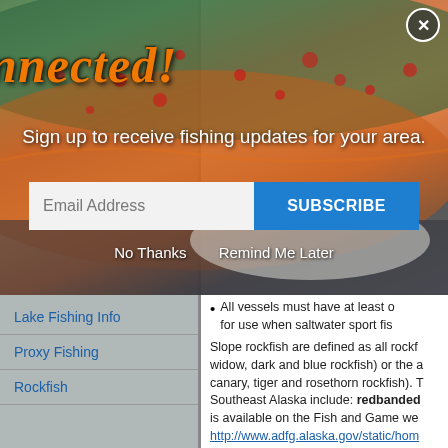[Figure (screenshot): Stay Connected popup overlay on a fishing website. Shows a colorful fish photo background with orange decorative script title 'Stay Connected!', a signup prompt, email address input field, SUBSCRIBE button, and No Thanks / Remind Me Later links.]
All vessels must have at least o... for use when saltwater sport fis...
Slope rockfish are defined as all rockf... widow, dark and blue rockfish) or the ... canary, tiger and rosethorn rockfish). ... Southeast Alaska include: redbanded ... is available on the Fish and Game we... http://www.adfg.alaska.gov/static/hom...
Retention of the following domersa...
Lake Fishing Info
Proxy Fishing
Rockfish